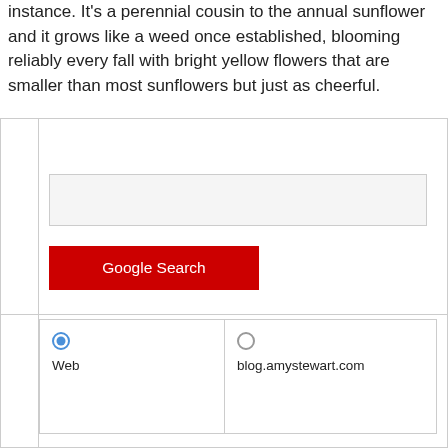instance. It's a perennial cousin to the annual sunflower and it grows like a weed once established, blooming reliably every fall with bright yellow flowers that are smaller than most sunflowers but just as cheerful.
[Figure (screenshot): A Google Search widget embedded in a webpage, showing a search input box, a red 'Google Search' button, and radio buttons for 'Web' (selected) and 'blog.amystewart.com' search scopes.]